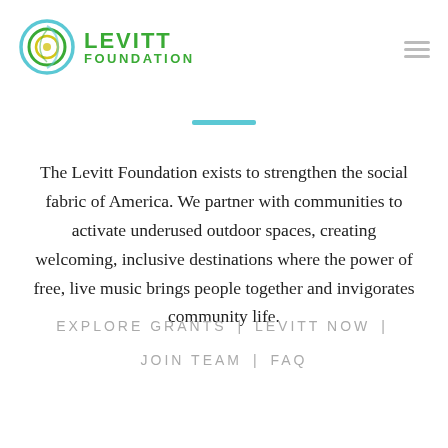[Figure (logo): Levitt Foundation logo with circular swirl graphic in teal, green, and yellow, and text LEVITT FOUNDATION in green bold letters]
The Levitt Foundation exists to strengthen the social fabric of America. We partner with communities to activate underused outdoor spaces, creating welcoming, inclusive destinations where the power of free, live music brings people together and invigorates community life.
EXPLORE GRANTS | LEVITT NOW |
JOIN TEAM | FAQ